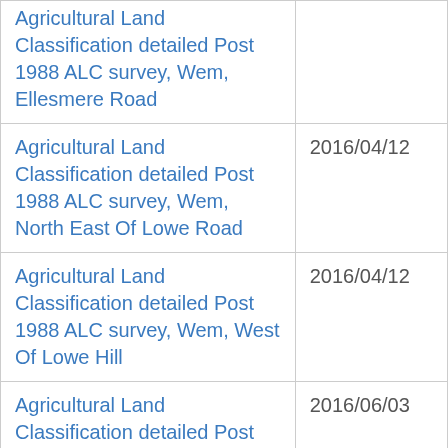| Title | Date |
| --- | --- |
| Agricultural Land Classification detailed Post 1988 ALC survey, Wem, Ellesmere Road |  |
| Agricultural Land Classification detailed Post 1988 ALC survey, Wem, North East Of Lowe Road | 2016/04/12 |
| Agricultural Land Classification detailed Post 1988 ALC survey, Wem, West Of Lowe Hill | 2016/04/12 |
| Agricultural Land Classification detailed Post 1988 ALC survey, West Liss, Kippences (East Hants DLP) | 2016/06/03 |
| Agricultural Land Classification | 2016/06/21 |